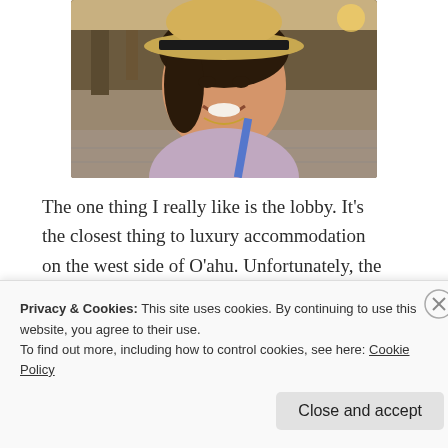[Figure (photo): A smiling woman wearing a straw fedora hat with a black band, taking a selfie in what appears to be an open-air restaurant or lobby setting.]
The one thing I really like is the lobby. It's the closest thing to luxury accommodation on the west side of O'ahu. Unfortunately, the kama'aina
Privacy & Cookies: This site uses cookies. By continuing to use this website, you agree to their use.
To find out more, including how to control cookies, see here: Cookie Policy
Close and accept